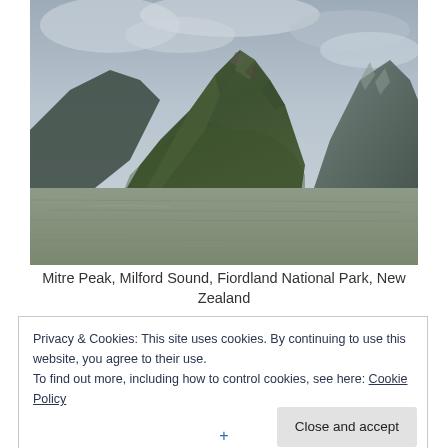[Figure (photo): Photograph of Mitre Peak rising steeply from Milford Sound, with green forested slopes, rocky upper ridges, overcast sky, and calm grey-green water in the foreground. Fiordland National Park, New Zealand.]
Mitre Peak, Milford Sound, Fiordland National Park, New Zealand
Privacy & Cookies: This site uses cookies. By continuing to use this website, you agree to their use.
To find out more, including how to control cookies, see here: Cookie Policy
Close and accept